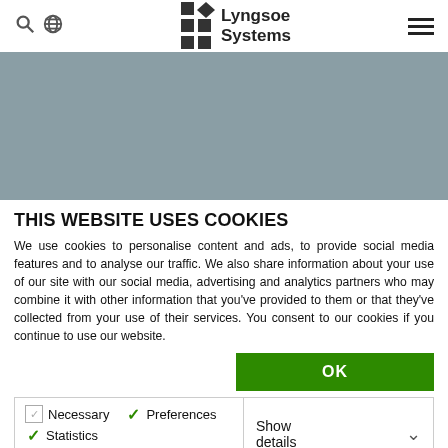Lyngsoe Systems — navigation header with search, globe, logo, and hamburger menu
[Figure (screenshot): Greyed-out hero image area (placeholder background)]
THIS WEBSITE USES COOKIES
We use cookies to personalise content and ads, to provide social media features and to analyse our traffic. We also share information about your use of our site with our social media, advertising and analytics partners who may combine it with other information that you've provided to them or that they've collected from your use of their services. You consent to our cookies if you continue to use our website.
OK
| Necessary | Preferences | Statistics | Show details |
| Marketing |  |  |  |